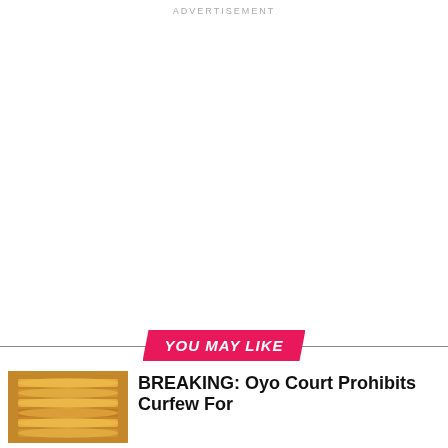ADVERTISEMENT
[Figure (other): Advertisement blank white space]
YOU MAY LIKE
[Figure (photo): Thumbnail image of stacked coins/currency]
BREAKING: Oyo Court Prohibits Curfew For